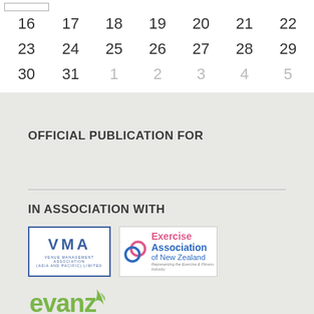[Figure (other): Partial calendar showing rows for dates 16-22, 23-29, and 30-31 (current month) plus greyed-out 1-5 (next month). One date cell appears highlighted with a border.]
OFFICIAL PUBLICATION FOR
IN ASSOCIATION WITH
[Figure (logo): VMA - Venue Management Association (Asia and Pacific) Limited logo in blue border box]
[Figure (logo): Exercise Association of New Zealand logo - Representing the Exercise & Fitness Industry]
[Figure (logo): evanz logo in green with fern/leaf motif]